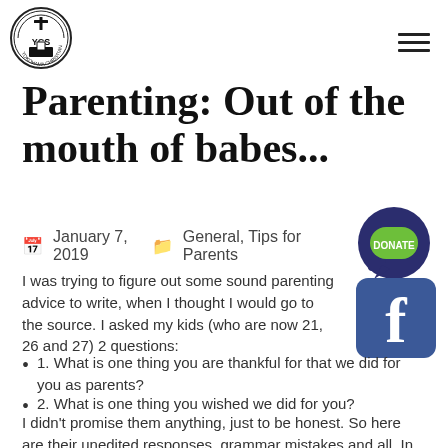[Figure (logo): YCS Yokohama Christian School circular logo with cross and building]
Parenting: Out of the mouth of babes...
January 7, 2019   General, Tips for Parents
[Figure (illustration): Green donate button icon (speech bubble style)]
[Figure (logo): Facebook logo icon (blue square with white f)]
I was trying to figure out some sound parenting advice to write, when I thought I would go to the source. I asked my kids (who are now 21, 26 and 27) 2 questions:
1. What is one thing you are thankful for that we did for you as parents?
2. What is one thing you wished we did for you?
I didn't promise them anything, just to be honest.  So here are their unedited responses, grammar mistakes and all.  In